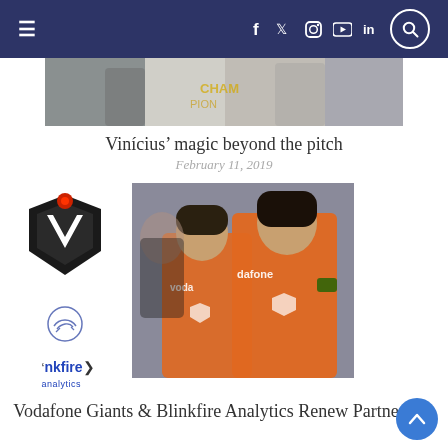Navigation bar with hamburger menu and social icons (f, Twitter, Instagram, YouTube, LinkedIn) and search
[Figure (photo): Cropped sports photo showing soccer/football players with a jersey reading 'CHAMP...']
Vinícius' magic beyond the pitch
February 11, 2019
[Figure (logo): Vodafone Giants logo (black shield with red circle on top) and a handshake icon and Blinkfire Analytics logo]
[Figure (photo): Photo of two young women in orange Vodafone Giants esports jerseys with Vodafone branding]
Vodafone Giants & Blinkfire Analytics Renew Partnership